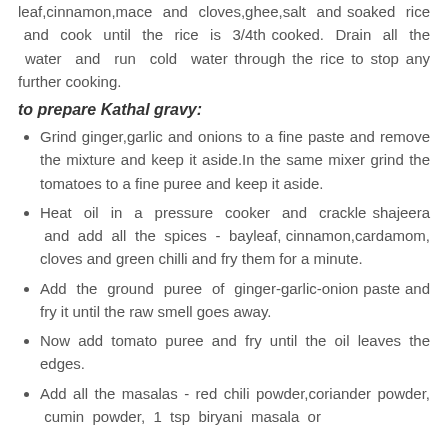leaf,cinnamon,mace and cloves,ghee,salt and soaked rice and cook until the rice is 3/4th cooked. Drain all the water and run cold water through the rice to stop any further cooking.
to prepare Kathal gravy:
Grind ginger,garlic and onions to a fine paste and remove the mixture and keep it aside.In the same mixer grind the tomatoes to a fine puree and keep it aside.
Heat oil in a pressure cooker and crackle shajeera and add all the spices - bayleaf, cinnamon,cardamom, cloves and green chilli and fry them for a minute.
Add the ground puree of ginger-garlic-onion paste and fry it until the raw smell goes away.
Now add tomato puree and fry until the oil leaves the edges.
Add all the masalas - red chili powder,coriander powder, cumin powder, 1 tsp biryani masala or